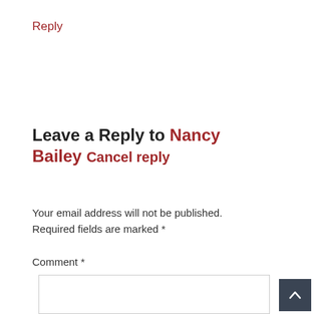Reply
Leave a Reply to Nancy Bailey Cancel reply
Your email address will not be published. Required fields are marked *
Comment *
[Figure (other): Empty comment textarea input box]